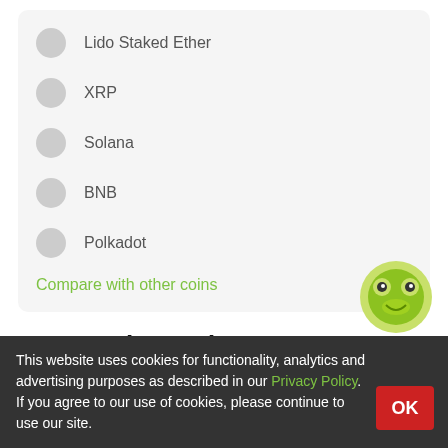Lido Staked Ether
XRP
Solana
BNB
Polkadot
Compare with other coins
BTZC Price Today
BeatzCoin price today is $0.000040150736 with a 24-hour trading volume of $0.387271. BTZC price is up 0.3% in the last 24 hours. It has a circulating supply of 0 BTZC coins and a total supply of 3 Billion.
This website uses cookies for functionality, analytics and advertising purposes as described in our Privacy Policy. If you agree to our use of cookies, please continue to use our site.